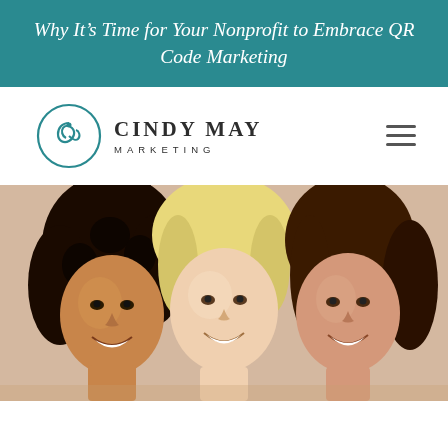Why It’s Time for Your Nonprofit to Embrace QR Code Marketing
[Figure (logo): Cindy May Marketing logo with circular swirl emblem and text]
[Figure (photo): Three smiling women of diverse backgrounds posing close together, cropped portrait photo]